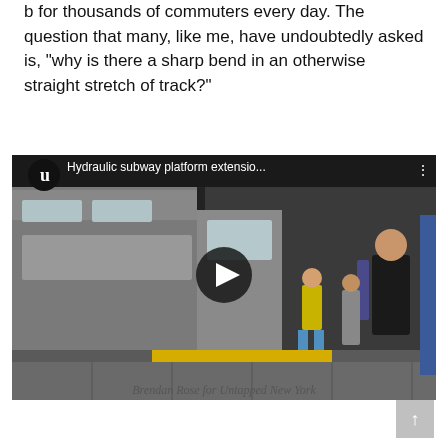b for thousands of commuters every day. The question that many, like me, have undoubtedly asked is, "why is there a sharp bend in an otherwise straight stretch of track?"
[Figure (screenshot): YouTube video thumbnail showing a subway platform with passengers and a train. Video title reads 'Hydraulic subway platform extensio...' with a play button overlay and the Untapped New York (u) logo.]
Brendan Rose for Untapped New York